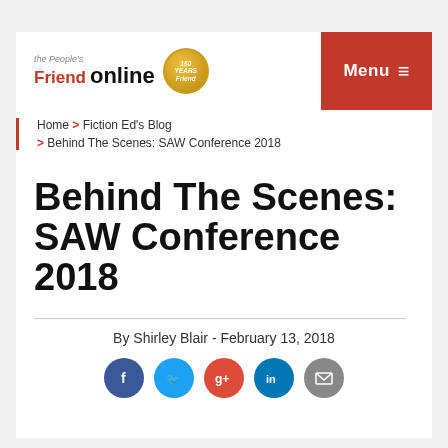The People's Friend Online — Menu
Home > Fiction Ed's Blog > Behind The Scenes: SAW Conference 2018
Behind The Scenes: SAW Conference 2018
By Shirley Blair - February 13, 2018
[Figure (infographic): Social sharing icons: Facebook (blue), Twitter (light blue), Google+ (red), LinkedIn (teal), Email (grey)]